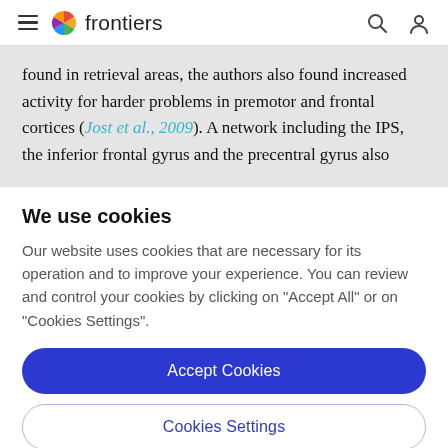frontiers
found in retrieval areas, the authors also found increased activity for harder problems in premotor and frontal cortices (Jost et al., 2009). A network including the IPS, the inferior frontal gyrus and the precentral gyrus also
We use cookies
Our website uses cookies that are necessary for its operation and to improve your experience. You can review and control your cookies by clicking on "Accept All" or on "Cookies Settings".
Accept Cookies
Cookies Settings